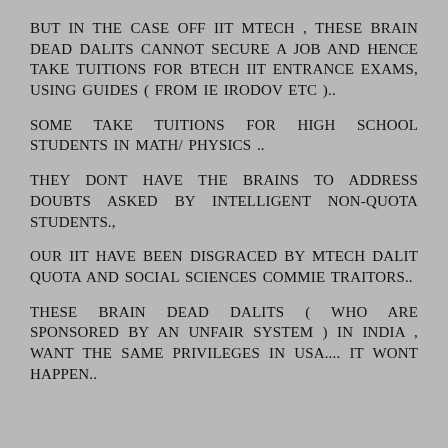BUT IN THE CASE OFF IIT MTECH , THESE BRAIN DEAD DALITS CANNOT SECURE A JOB AND HENCE TAKE TUITIONS FOR BTECH IIT ENTRANCE EXAMS, USING GUIDES ( FROM IE IRODOV ETC )..
SOME TAKE TUITIONS FOR HIGH SCHOOL STUDENTS IN MATH/ PHYSICS ..
THEY DONT HAVE THE BRAINS TO ADDRESS DOUBTS ASKED BY INTELLIGENT NON-QUOTA STUDENTS.,
OUR IIT HAVE BEEN DISGRACED BY MTECH DALIT QUOTA AND SOCIAL SCIENCES COMMIE TRAITORS..
THESE BRAIN DEAD DALITS ( WHO ARE SPONSORED BY AN UNFAIR SYSTEM ) IN INDIA , WANT THE SAME PRIVILEGES IN USA.... IT WONT HAPPEN..